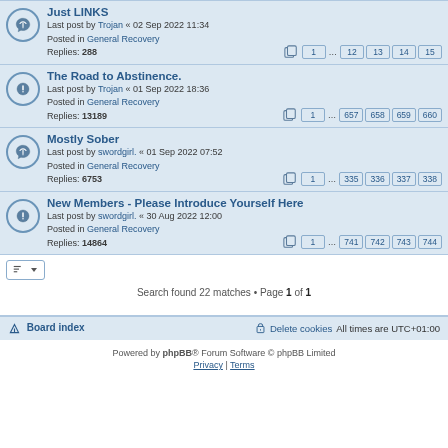Just LINKS — Last post by Trojan « 02 Sep 2022 11:34 — Posted in General Recovery — Replies: 288 — Pages: 1 ... 12 13 14 15
The Road to Abstinence. — Last post by Trojan « 01 Sep 2022 18:36 — Posted in General Recovery — Replies: 13189 — Pages: 1 ... 657 658 659 660
Mostly Sober — Last post by swordgirl. « 01 Sep 2022 07:52 — Posted in General Recovery — Replies: 6753 — Pages: 1 ... 335 336 337 338
New Members - Please Introduce Yourself Here — Last post by swordgirl. « 30 Aug 2022 12:00 — Posted in General Recovery — Replies: 14864 — Pages: 1 ... 741 742 743 744
Search found 22 matches • Page 1 of 1
Board index | Delete cookies | All times are UTC+01:00
Powered by phpBB® Forum Software © phpBB Limited
Privacy | Terms